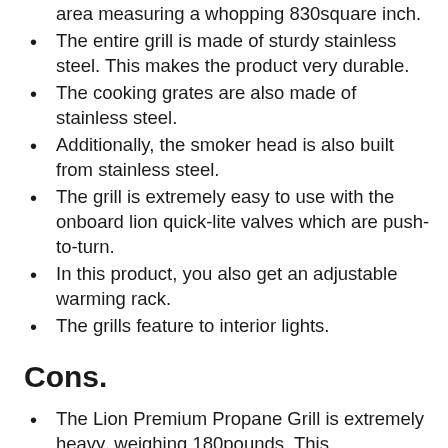area measuring a whopping 830square inch.
The entire grill is made of sturdy stainless steel. This makes the product very durable.
The cooking grates are also made of stainless steel.
Additionally, the smoker head is also built from stainless steel.
The grill is extremely easy to use with the onboard lion quick-lite valves which are push-to-turn.
In this product, you also get an adjustable warming rack.
The grills feature to interior lights.
Cons.
The Lion Premium Propane Grill is extremely heavy, weighing 180pounds. This